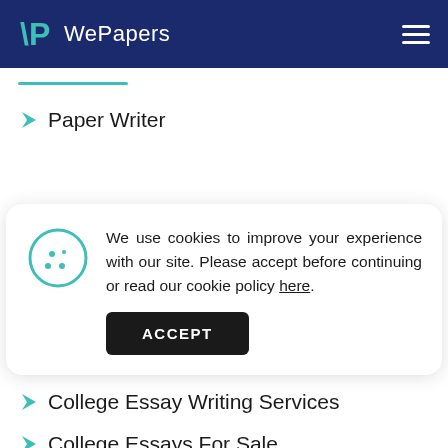WePapers
[Figure (screenshot): WePapers website screenshot showing navigation header, teal underline, list items Paper Writer, Pay For A Research Paper, College Essay Writing Services, and a cookie consent modal overlay with ACCEPT button]
Paper Writer
We use cookies to improve your experience with our site. Please accept before continuing or read our cookie policy here.
ACCEPT
Pay For A Research Paper
College Essay Writing Services
College Essays For Sale